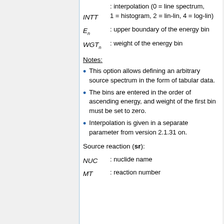INTT 1 = histogram, 2 = lin-lin, 4 = log-lin : interpolation (0 = line spectrum, 1 = histogram, 2 = lin-lin, 4 = log-lin)
E_n : upper boundary of the energy bin
WGT_n : weight of the energy bin
Notes:
This option allows defining an arbitrary source spectrum in the form of tabular data.
The bins are entered in the order of ascending energy, and weight of the first bin must be set to zero.
Interpolation is given in a separate parameter from version 2.1.31 on.
Source reaction (sr):
NUC : nuclide name
MT : reaction number